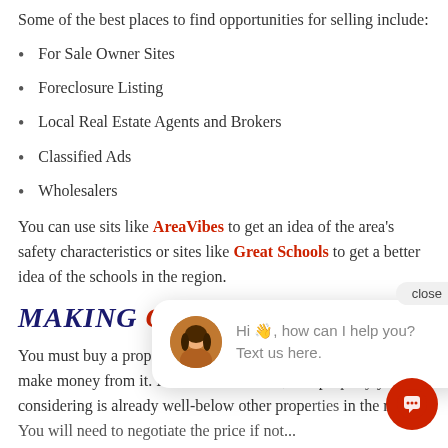Some of the best places to find opportunities for selling include:
For Sale Owner Sites
Foreclosure Listing
Local Real Estate Agents and Brokers
Classified Ads
Wholesalers
You can use sits like AreaVibes to get an idea of the area's safety characteristics or sites like Great Schools to get a better idea of the schools in the region.
MAKING [YOUR OFFER]
You must buy a property below market value if you expect to make money from it. In an ideal situation, that property you are considering is already well-below other properties in the region. You will need to negotiate the price if not...